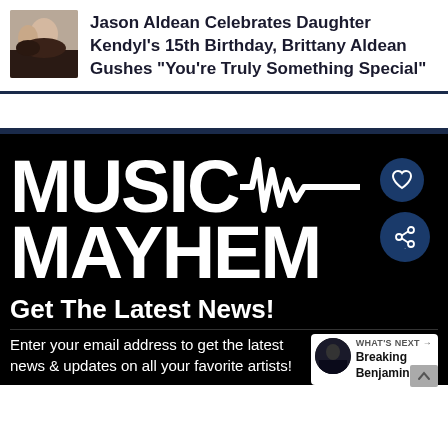[Figure (photo): Thumbnail photo of Jason Aldean and Kendyl, two people visible]
Jason Aldean Celebrates Daughter Kendyl's 15th Birthday, Brittany Aldean Gushes "You're Truly Something Special"
[Figure (logo): Music Mayhem logo in large bold white text on black background with heartbeat waveform graphic between MUSIC and MAYHEM]
Get The Latest News!
Enter your email address to get the latest news & updates on all your favorite artists!
WHAT'S NEXT → Breaking Benjamin...